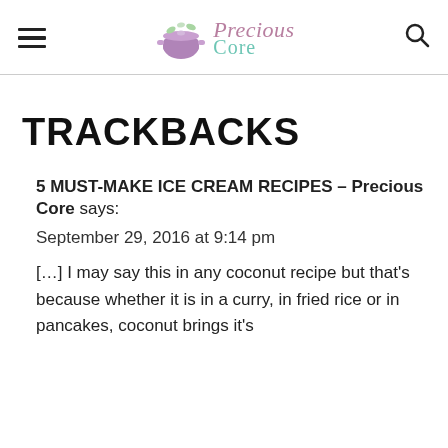Precious Core
TRACKBACKS
5 MUST-MAKE ICE CREAM RECIPES – Precious Core says:
September 29, 2016 at 9:14 pm
[…] I may say this in any coconut recipe but that's because whether it is in a curry, in fried rice or in pancakes, coconut brings it's